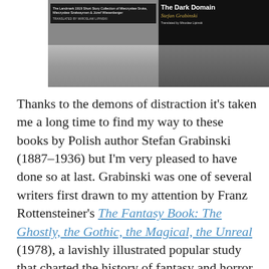[Figure (photo): Two book covers side by side for Stefan Grabinski works translated by Miroslaw Lipinski, set against a background of a historic railway station illustration. Left cover is darker with small text; right cover shows 'The Dark Domain' in bold white text with the author name in gold italic script.]
Thanks to the demons of distraction it's taken me a long time to find my way to these books by Polish author Stefan Grabinski (1887–1936) but I'm very pleased to have done so at last. Grabinski was one of several writers first drawn to my attention by Franz Rottensteiner's The Fantasy Book: The Ghostly, the Gothic, the Magical, the Unreal (1978), a lavishly illustrated popular study that charted the history of fantasy and horror fiction. The book is inevitably dominated by Anglophone authors but Rottensteiner was looking at the genres from a